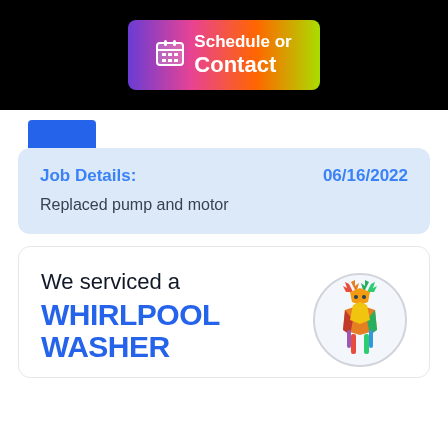[Figure (screenshot): Schedule or Contact button with calendar icon, gradient background from purple to green]
Job Details: 06/16/2022
Replaced pump and motor
We serviced a
WHIRLPOOL
WASHER
[Figure (illustration): Colorful polygonal deer illustration inside a circle]